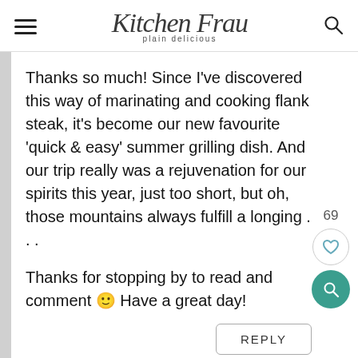Kitchen Frau plain delicious
Thanks so much! Since I've discovered this way of marinating and cooking flank steak, it's become our new favourite 'quick & easy' summer grilling dish. And our trip really was a rejuvenation for our spirits this year, just too short, but oh, those mountains always fulfill a longing . . .
Thanks for stopping by to read and comment 🙂 Have a great day!